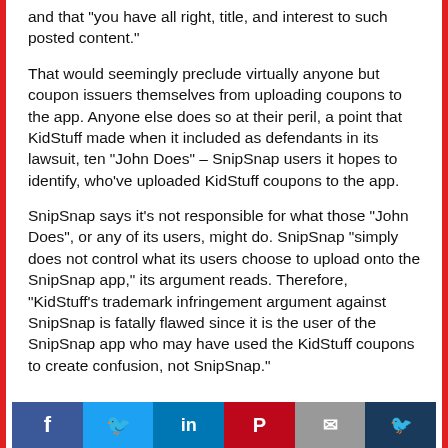and that “you have all right, title, and interest to such posted content.”
That would seemingly preclude virtually anyone but coupon issuers themselves from uploading coupons to the app. Anyone else does so at their peril, a point that KidStuff made when it included as defendants in its lawsuit, ten “John Does” – SnipSnap users it hopes to identify, who’ve uploaded KidStuff coupons to the app.
SnipSnap says it’s not responsible for what those “John Does”, or any of its users, might do. SnipSnap “simply does not control what its users choose to upload onto the SnipSnap app,” its argument reads. Therefore, “KidStuff’s trademark infringement argument against SnipSnap is fatally flawed since it is the user of the SnipSnap app who may have used the KidStuff coupons to create confusion, not SnipSnap.”